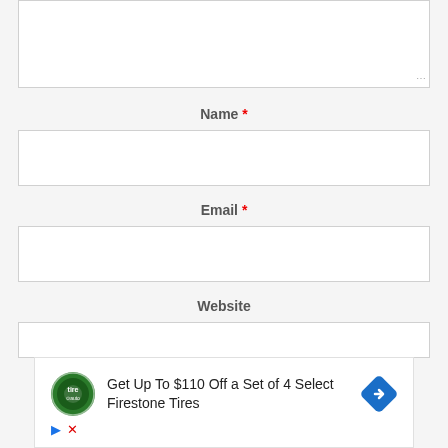[Figure (screenshot): Textarea form field with resize handle at bottom right]
Name *
[Figure (screenshot): Name input field (empty)]
Email *
[Figure (screenshot): Email input field (empty)]
Website
[Figure (screenshot): Website input field (partially visible)]
[Figure (screenshot): Advertisement: Get Up To $110 Off a Set of 4 Select Firestone Tires, with Tire Auto logo and blue directional sign icon]